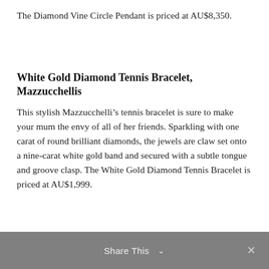The Diamond Vine Circle Pendant is priced at AU$8,350.
White Gold Diamond Tennis Bracelet, Mazzucchellis
This stylish Mazzucchelli’s tennis bracelet is sure to make your mum the envy of all of her friends. Sparkling with one carat of round brilliant diamonds, the jewels are claw set onto a nine-carat white gold band and secured with a subtle tongue and groove clasp. The White Gold Diamond Tennis Bracelet is priced at AU$1,999.
Share This ⌄  ×